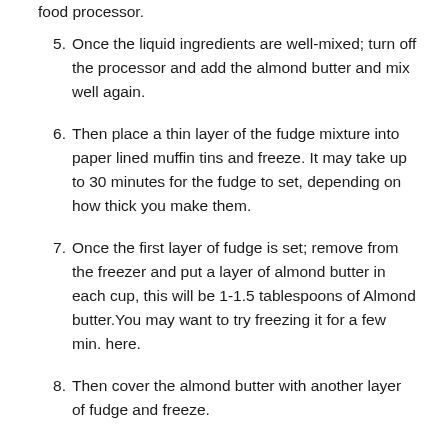food processor.
5. Once the liquid ingredients are well-mixed; turn off the processor and add the almond butter and mix well again.
6. Then place a thin layer of the fudge mixture into paper lined muffin tins and freeze. It may take up to 30 minutes for the fudge to set, depending on how thick you make them.
7. Once the first layer of fudge is set; remove from the freezer and put a layer of almond butter in each cup, this will be 1-1.5 tablespoons of Almond butter. You may want to try freezing it for a few min. here.
8. Then cover the almond butter with another layer of fudge and freeze.